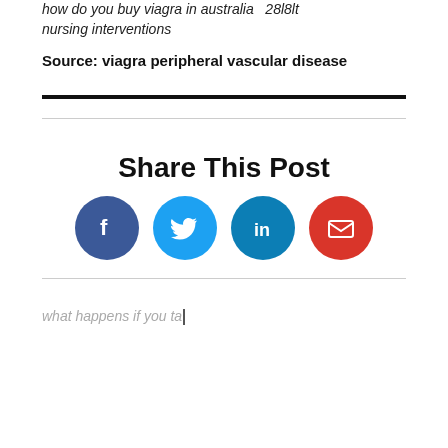how do you buy viagra in australia   28l8lt nursing interventions
Source: viagra peripheral vascular disease
Share This Post
[Figure (infographic): Four circular social share buttons: Facebook (dark blue), Twitter (light blue), LinkedIn (teal blue), Email (red)]
what happens if you ta